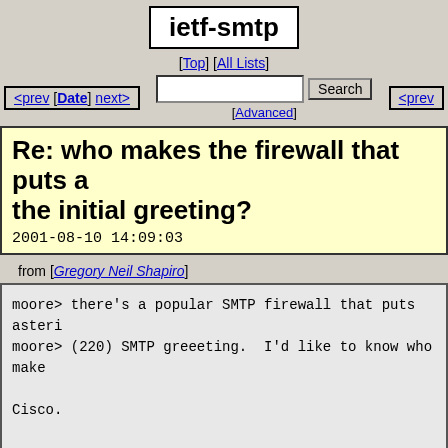ietf-smtp
[Top] [All Lists]
<prev [Date] next>
Search [Advanced]
Re: who makes the firewall that puts a the initial greeting?
2001-08-10 14:09:03
from [Gregory Neil Shapiro]
moore> there's a popular SMTP firewall that puts asteri
moore> (220) SMTP greeeting.  I'd like to know who make

Cisco.
[More with this subject...]
| <Prev in Thread> | Current Thread |
| --- | --- |
| who makes the firewall that puts asterisks in the ini |  |